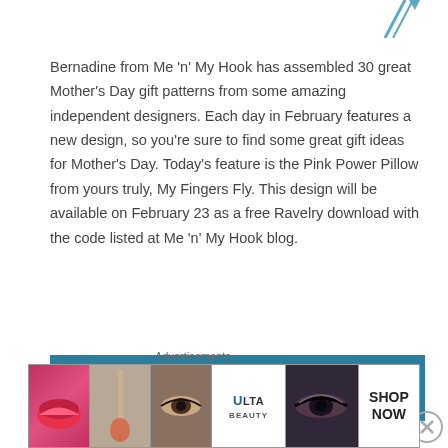[Figure (illustration): Small decorative graphic in top right corner, appears to be a crochet hook or needle illustration]
Bernadine from Me 'n' My Hook has assembled 30 great Mother's Day gift patterns from some amazing independent designers. Each day in February features a new design, so you're sure to find some great gift ideas for Mother's Day. Today's feature is the Pink Power Pillow from yours truly, My Fingers Fly. This design will be available on February 23 as a free Ravelry download with the code listed at Me 'n' My Hook blog.
Click Here to Get the Free DOWNLOAD CODE
Also available is the matching Pink Power Fist Ornament
[Figure (photo): Advertisement banner showing beauty/cosmetics images including lips with lipstick, makeup brush, eye with makeup, ULTA Beauty logo, another eye with dramatic makeup, and SHOP NOW text]